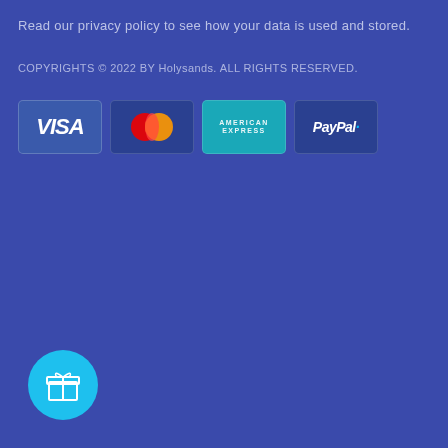Read our privacy policy to see how your data is used and stored.
COPYRIGHTS © 2022 BY Holysands. ALL RIGHTS RESERVED.
[Figure (logo): Payment method icons: VISA, Mastercard, American Express, PayPal]
[Figure (illustration): Cyan circular button with gift box icon]